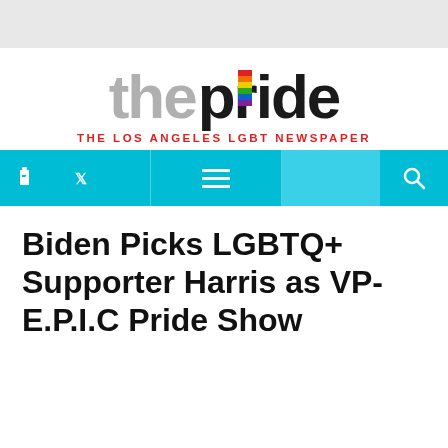[Figure (logo): The Pride newspaper logo — 'the' in gray bold text, 'pride' in black bold text with a rainbow flag replacing the dot on the letter 'i', and subtitle 'THE LOS ANGELES LGBT NEWSPAPER' in red capitals below]
THE LOS ANGELES LGBT NEWSPAPER
Biden Picks LGBTQ+ Supporter Harris as VP- E.P.I.C Pride Show